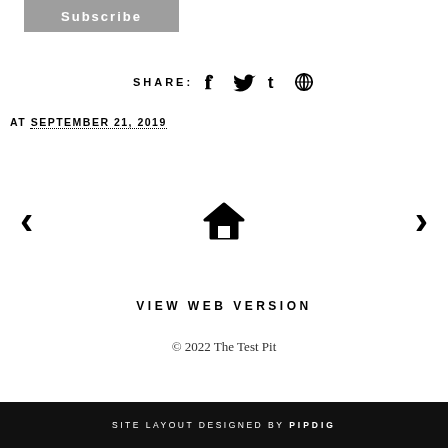Subscribe
SHARE:  [social icons: Facebook, Twitter, Tumblr, Pinterest]
AT SEPTEMBER 21, 2019
[Figure (other): Navigation row with left arrow, home icon, right arrow]
VIEW WEB VERSION
© 2022 The Test Pit
SITE LAYOUT DESIGNED BY pipdig